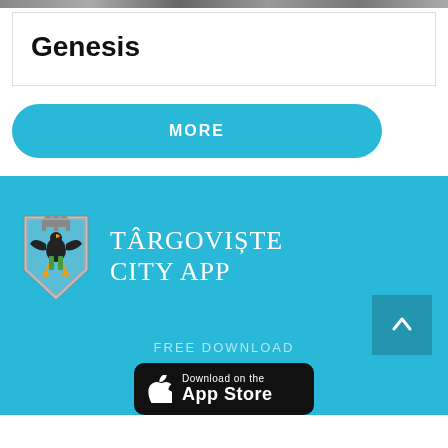Genesis
MORE
[Figure (logo): Târgoviște city coat of arms logo and app name: TÂRGOVIȘTE CITY APP on teal background]
FREE DOWNLOAD
[Figure (screenshot): Download on the App Store black button]